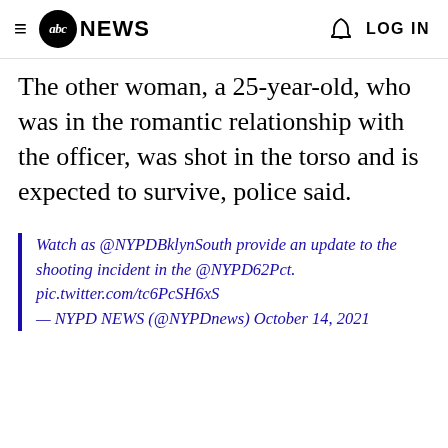abc NEWS  LOG IN
The other woman, a 25-year-old, who was in the romantic relationship with the officer, was shot in the torso and is expected to survive, police said.
Watch as @NYPDBklynSouth provide an update to the shooting incident in the @NYPD62Pct. pic.twitter.com/tc6PcSH6xS — NYPD NEWS (@NYPDnews) October 14, 2021